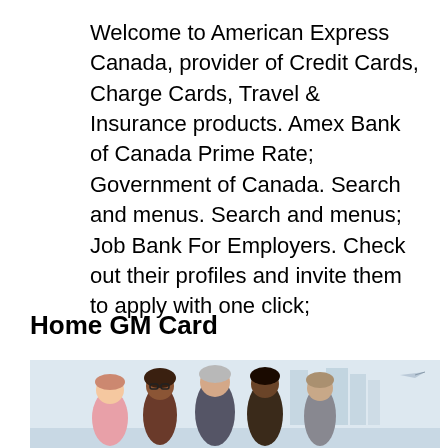Welcome to American Express Canada, provider of Credit Cards, Charge Cards, Travel & Insurance products. Amex Bank of Canada Prime Rate; Government of Canada. Search and menus. Search and menus; Job Bank For Employers. Check out their profiles and invite them to apply with one click;
Home GM Card
[Figure (photo): Group of diverse people standing together, cropped at bottom of page, with a light blue/grey background]